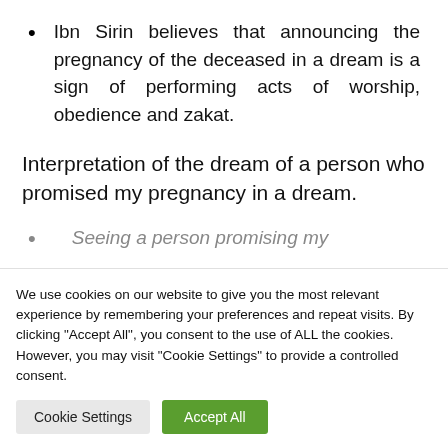Ibn Sirin believes that announcing the pregnancy of the deceased in a dream is a sign of performing acts of worship, obedience and zakat.
Interpretation of the dream of a person who promised my pregnancy in a dream.
Seeing a person promising my...
We use cookies on our website to give you the most relevant experience by remembering your preferences and repeat visits. By clicking "Accept All", you consent to the use of ALL the cookies. However, you may visit "Cookie Settings" to provide a controlled consent.